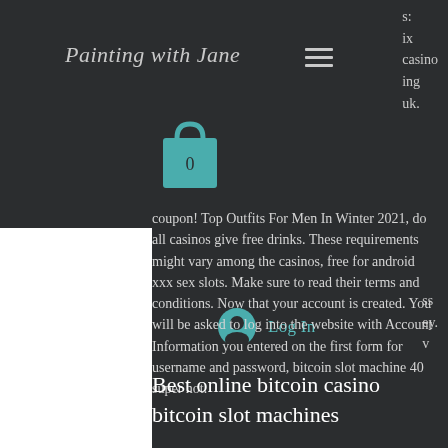Painting with Jane
[Figure (illustration): Teal shopping bag icon with number 0 inside, navigation hamburger menu icon, partial clipped text on right side reading 's: ix casino ing uk.']
[Figure (illustration): User account icon circle with silhouette, Log In link in teal color, partial text on right reading 'ss ey. v']
coupon! Top Outfits For Men In Winter 2021, do all casinos give free drinks. These requirements might vary among the casinos, free for android xxx sex slots. Make sure to read their terms and conditions. Now that your account is created. You will be asked to log into the website with Account Information you entered on the first form for username and password, bitcoin slot machine 40 super hot.
Best online bitcoin casino bitcoin slot machines